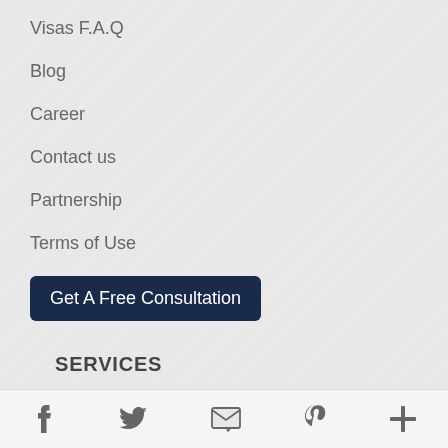Visas F.A.Q
Blog
Career
Contact us
Partnership
Terms of Use
Get A Free Consultation
SERVICES
Family Sponsored Immigration Visas
DV-1 Visas "Green Card Lottery"
Social media icons: Facebook, Twitter, Email, Pinterest, More